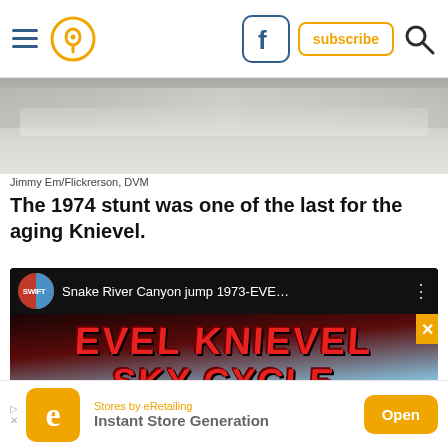Navigation header with hamburger menu, location icon, Facebook icon, subscribe button, search icon
[Figure (photo): Partial photo of a concrete wall or barrier, gray tones]
Jimmy Em/Flickrerson, DVM
The 1974 stunt was one of the last for the aging Knievel.
[Figure (screenshot): YouTube video thumbnail showing 'Snake River Canyon jump 1973-EVE...' with SWIFT channel avatar and large text EVEL KNIEVEL SKY CYCLE with play button]
Stores by eRetailing
Instant Store Generation
Open